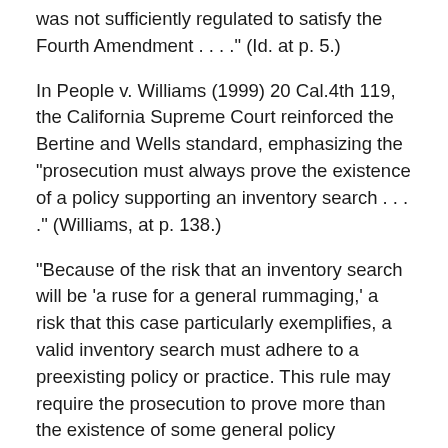was not sufficiently regulated to satisfy the Fourth Amendment . . . ." (Id. at p. 5.)
In People v. Williams (1999) 20 Cal.4th 119, the California Supreme Court reinforced the Bertine and Wells standard, emphasizing the "prosecution must always prove the existence of a policy supporting an inventory search . . . ." (Williams, at p. 138.)
"Because of the risk that an inventory search will be 'a ruse for a general rummaging,' a risk that this case particularly exemplifies, a valid inventory search must adhere to a preexisting policy or practice. This rule may require the prosecution to prove more than the existence of some general policy authorizing inventory searches; when relevant, the prosecution must also prove a policy or practice governing the opening of closed containers encountered during an inventory